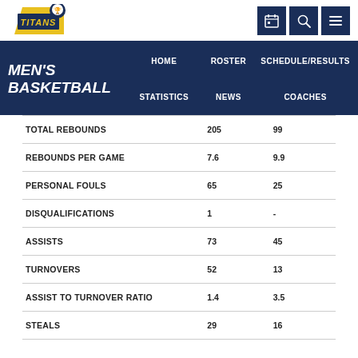[Figure (logo): Titans athletic logo with stylized text]
MEN'S BASKETBALL | HOME | ROSTER | SCHEDULE/RESULTS | STATISTICS | NEWS | COACHES
|  |  |  |
| --- | --- | --- |
| TOTAL REBOUNDS | 205 | 99 |
| REBOUNDS PER GAME | 7.6 | 9.9 |
| PERSONAL FOULS | 65 | 25 |
| DISQUALIFICATIONS | 1 | - |
| ASSISTS | 73 | 45 |
| TURNOVERS | 52 | 13 |
| ASSIST TO TURNOVER RATIO | 1.4 | 3.5 |
| STEALS | 29 | 16 |